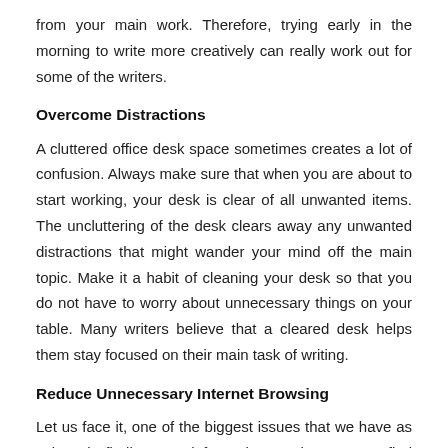from your main work. Therefore, trying early in the morning to write more creatively can really work out for some of the writers.
Overcome Distractions
A cluttered office desk space sometimes creates a lot of confusion. Always make sure that when you are about to start working, your desk is clear of all unwanted items. The uncluttering of the desk clears away any unwanted distractions that might wander your mind off the main topic. Make it a habit of cleaning your desk so that you do not have to worry about unnecessary things on your table. Many writers believe that a cleared desk helps them stay focused on their main task of writing.
Reduce Unnecessary Internet Browsing
Let us face it, one of the biggest issues that we have as writers is finding new information. In the quest to find more about a certain topic, we often go deep into our imaginations and start finding things online that are not related to our main subject.